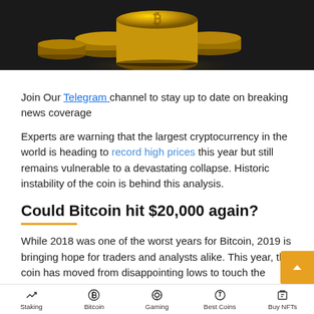[Figure (photo): Hero image showing gold Bitcoin coins stacked on a dark background]
Join Our Telegram channel to stay up to date on breaking news coverage
Experts are warning that the largest cryptocurrency in the world is heading to record high prices this year but still remains vulnerable to a devastating collapse. Historic instability of the coin is behind this analysis.
Could Bitcoin hit $20,000 again?
While 2018 was one of the worst years for Bitcoin, 2019 is bringing hope for traders and analysts alike. This year, the coin has moved from disappointing lows to touch the $8,000 mark. Experts believe that the coin is headed to
Staking | Bitcoin | Gaming | Best Coins | Buy NFTs